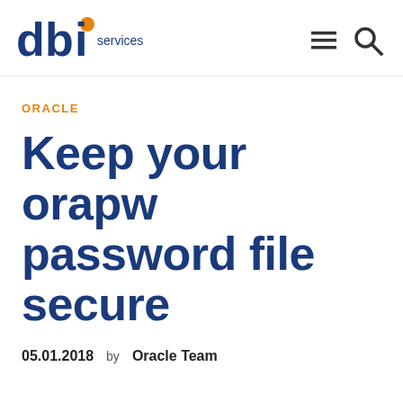dbi services [logo] [menu icon] [search icon]
ORACLE
Keep your orapw password file secure
05.01.2018   by Oracle Team